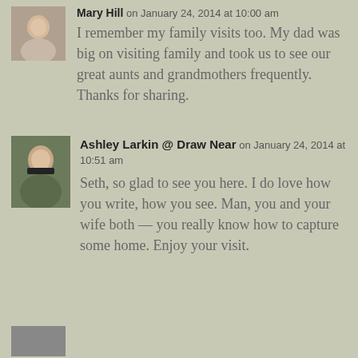Mary Hill on January 24, 2014 at 10:00 am
I remember my family visits too. My dad was big on visiting family and took us to see our great aunts and grandmothers frequently. Thanks for sharing.
Ashley Larkin @ Draw Near on January 24, 2014 at 10:51 am
Seth, so glad to see you here. I do love how you write, how you see. Man, you and your wife both — you really know how to capture some home. Enjoy your visit.